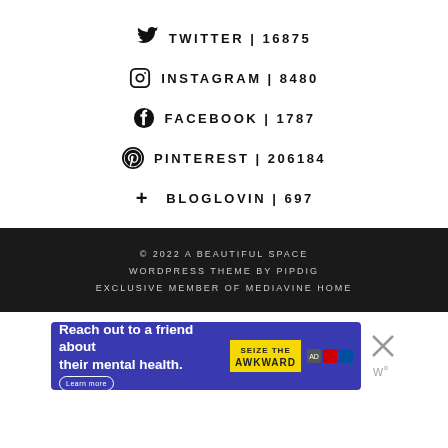TWITTER | 16875
INSTAGRAM | 8480
FACEBOOK | 1787
PINTEREST | 206184
BLOGLOVIN | 697
© 2022 A BEAUTIFUL SPACE
WORDPRESS THEME BY pipdig
EXCLUSIVE MEMBER OF MEDIAVINE HOME
[Figure (infographic): Advertisement banner: 'Reach out to a friend about their mental health. Learn more' with Seize The Awkward branding on blue background, with a close X button.]